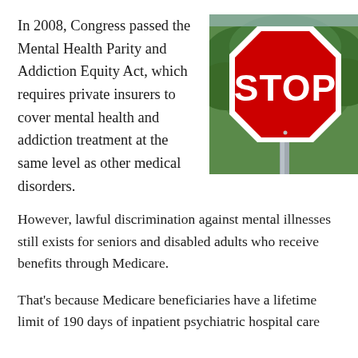In 2008, Congress passed the Mental Health Parity and Addiction Equity Act, which requires private insurers to cover mental health and addiction treatment at the same level as other medical disorders.
[Figure (photo): Photo of a red octagonal STOP sign against a background of green trees]
However, lawful discrimination against mental illnesses still exists for seniors and disabled adults who receive benefits through Medicare.
That's because Medicare beneficiaries have a lifetime limit of 190 days of inpatient psychiatric hospital care